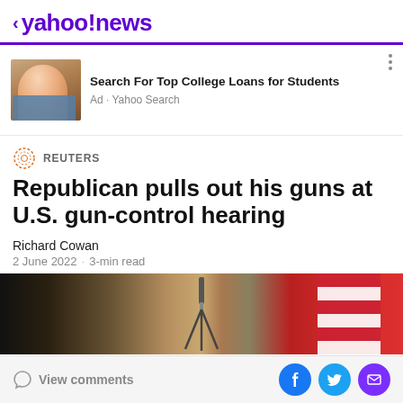< yahoo!news
[Figure (infographic): Advertisement banner: photo of a smiling woman at a laptop with text 'Search For Top College Loans for Students', Ad · Yahoo Search]
Search For Top College Loans for Students
Ad · Yahoo Search
[Figure (logo): Reuters orange dotted circle logo]
REUTERS
Republican pulls out his guns at U.S. gun-control hearing
Richard Cowan
2 June 2022 · 3-min read
[Figure (photo): Partial photo showing a tripod and an American flag in what appears to be a government hearing room]
View comments